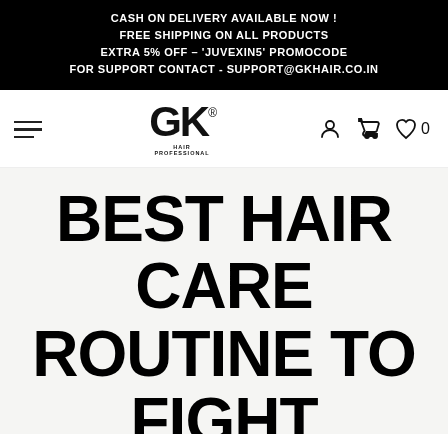CASH ON DELIVERY AVAILABLE NOW !
FREE SHIPPING ON ALL PRODUCTS
EXTRA 5% OFF - 'JUVEXIN5' PROMOCODE
FOR SUPPORT CONTACT - SUPPORT@GKHAIR.CO.IN
[Figure (logo): GK Hair Professional logo with hamburger menu, account icon, cart icon, and wishlist with count 0]
BEST HAIR CARE ROUTINE TO FIGHT DRY SCALP